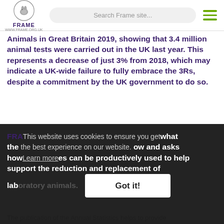FRAME | Search Frame site...
Animals in Great Britain 2019, showing that 3.4 million animal tests were carried out in the UK last year. This represents a decrease of just 3% from 2018, which may indicate a UK-wide failure to fully embrace the 3Rs, despite a commitment by the UK government to do so.
FRAME looks at what the data shows and asks how these resources can be productively used to help support the reduction and replacement of laboratory animals.
This website uses cookies to ensure you get the best experience on our website. Learn more   Got it!
The publication of the Annual Statistics helps to provide